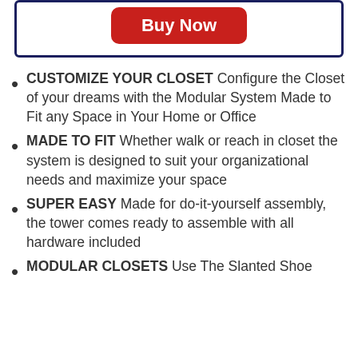[Figure (other): A red rounded rectangle button labeled 'Buy Now' inside a dark navy border box]
CUSTOMIZE YOUR CLOSET Configure the Closet of your dreams with the Modular System Made to Fit any Space in Your Home or Office
MADE TO FIT Whether walk or reach in closet the system is designed to suit your organizational needs and maximize your space
SUPER EASY Made for do-it-yourself assembly, the tower comes ready to assemble with all hardware included
MODULAR CLOSETS Use The Slanted Shoe